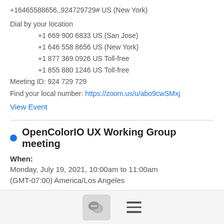+16465588656,,924729729# US (New York)
Dial by your location
      +1 669 900 6833 US (San Jose)
      +1 646 558 8656 US (New York)
      +1 877 369 0926 US Toll-free
      +1 855 880 1246 US Toll-free
Meeting ID: 924 729 729
Find your local number: https://zoom.us/u/abo9cwSMxj
View Event
OpenColorIO UX Working Group meeting
When:
Monday, July 19, 2021, 10:00am to 11:00am
(GMT-07:00) America/Los Angeles
Where: